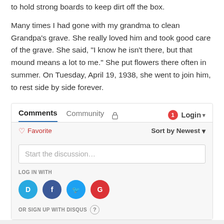to hold strong boards to keep dirt off the box.
Many times I had gone with my grandma to clean Grandpa's grave. She really loved him and took good care of the grave. She said, "I know he isn't there, but that mound means a lot to me." She put flowers there often in summer. On Tuesday, April 19, 1938, she went to join him, to rest side by side forever.
[Figure (screenshot): Disqus comments widget showing tabs for Comments, Community, and login options. Includes a Favorite button, Sort by Newest dropdown, a 'Start the discussion...' input field, LOG IN WITH label, social login icons (Disqus, Facebook, Twitter, Google), and OR SIGN UP WITH DISQUS text with a help icon.]